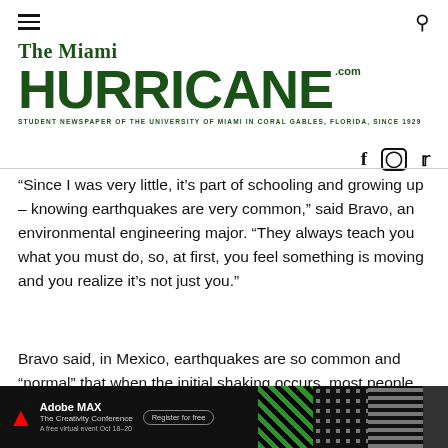The Miami HURRICANE.com — Student Newspaper of the University of Miami in Coral Gables, Florida, Since 1929
“Since I was very little, it’s part of schooling and growing up – knowing earthquakes are very common,” said Bravo, an environmental engineering major. “They always teach you what you must do, so, at first, you feel something is moving and you realize it’s not just you.”
Bravo said, in Mexico, earthquakes are so common and “normal” that when the initial shaking occurs, most people have to acknowledge those around them whether they feel something.